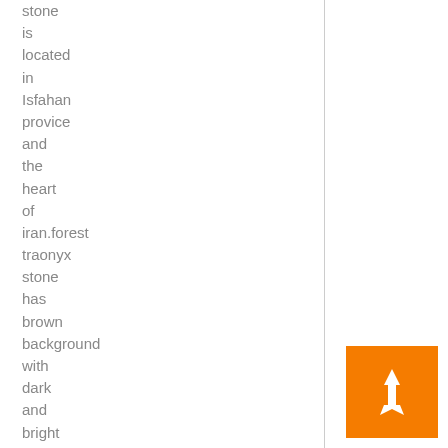stone is located in Isfahan provice and the heart of iran.forest traonyx stone has brown background with dark and bright models. This stone is processed in slab dimension,cabinet,volume,tabular,longitudinal,plaque
[Figure (other): Orange square button with a white rocket/arrow icon pointing upward]